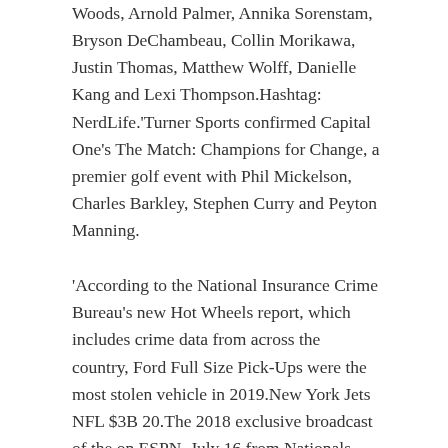Woods, Arnold Palmer, Annika Sorenstam, Bryson DeChambeau, Collin Morikawa, Justin Thomas, Matthew Wolff, Danielle Kang and Lexi Thompson.Hashtag: NerdLife.'Turner Sports confirmed Capital One's The Match: Champions for Change, a premier golf event with Phil Mickelson, Charles Barkley, Stephen Curry and Peyton Manning.
'According to the National Insurance Crime Bureau's new Hot Wheels report, which includes crime data from across the country, Ford Full Size Pick-Ups were the most stolen vehicle in 2019.New York Jets NFL $3B 20.The 2018 exclusive broadcast of the on ESPN, July 16 from Nationals Park in D.C., will get a plethora of fan-friendly coverage, beginning on-site at 3 PM that afternoon.Tiger Woods $62 million $2 million $60 million Golf 9.5 'Super Bowl LVIII Mercedes-Benz Superdome New Orleans Feb.